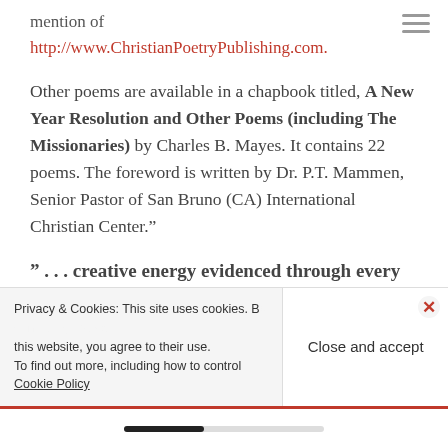mention of
http://www.ChristianPoetryPublishing.com.
Other poems are available in a chapbook titled, A New Year Resolution and Other Poems (including The Missionaries) by Charles B. Mayes. It contains 22 poems. The foreword is written by Dr. P.T. Mammen, Senior Pastor of San Bruno (CA) International Christian Center.”
” . . . creative energy evidenced through every li…
Privacy & Cookies: This site uses cookies. By continuing to use this website, you agree to their use. To find out more, including how to control cookies, see here: Cookie Policy
Close and accept